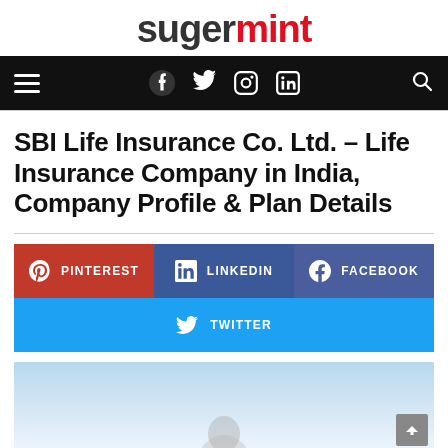sugermint
SBI Life Insurance Co. Ltd. – Life Insurance Company in India, Company Profile & Plan Details
[Figure (infographic): Social share buttons: Pinterest, LinkedIn, Facebook, Twitter]
[Figure (photo): Partial article image with light blue gradient background, person partially visible at bottom]